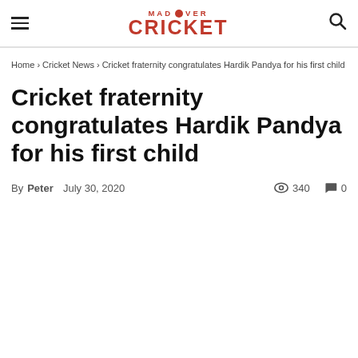MAD OVER CRICKET
Home › Cricket News › Cricket fraternity congratulates Hardik Pandya for his first child
Cricket fraternity congratulates Hardik Pandya for his first child
By Peter  July 30, 2020  340  0